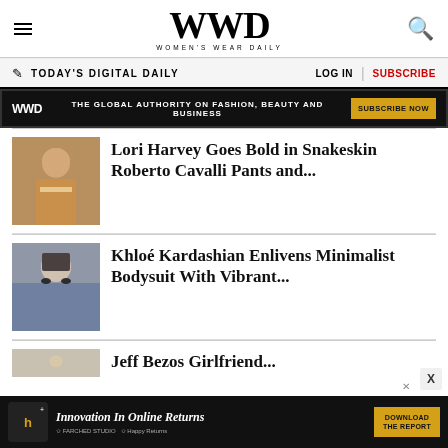WWD WOMEN'S WEAR DAILY
TODAY'S DIGITAL DAILY | LOG IN | SUBSCRIBE
WWD THE GLOBAL AUTHORITY ON FASHION, BEAUTY AND BUSINESS SUBSCRIBE NOW
Lori Harvey Goes Bold in Snakeskin Roberto Cavalli Pants and...
[Figure (photo): Photo of Lori Harvey]
Khloé Kardashian Enlivens Minimalist Bodysuit With Vibrant...
[Figure (photo): Photo of Khloé Kardashian]
Jeff Bezos Girlfriend...
[Figure (photo): Partially visible photo]
Innovation In Online Returns DOWNLOAD THE REPORT